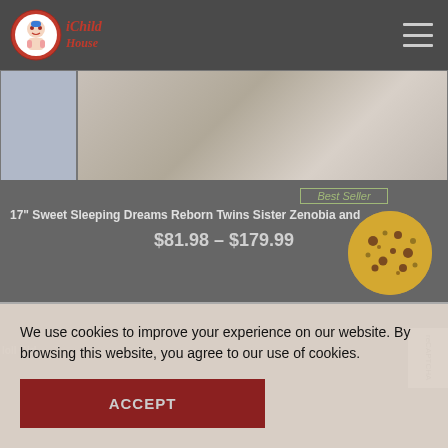[Figure (logo): iChild House logo - circular logo with cartoon child figure and brand name text]
[Figure (photo): Product images showing reborn twin dolls - thumbnail on left and main product image on right showing fabric/doll detail]
Best Seller
17" Sweet Sleeping Dreams Reborn Twins Sister Zenobia and
$81.98 – $179.99
loll Girl
[Figure (illustration): Cookie icon - golden/yellow cookie with chocolate chip spots illustration]
We use cookies to improve your experience on our website. By browsing this website, you agree to our use of cookies.
ACCEPT